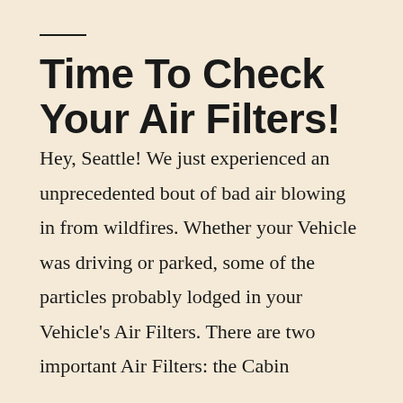Time To Check Your Air Filters!
Hey, Seattle! We just experienced an unprecedented bout of bad air blowing in from wildfires. Whether your Vehicle was driving or parked, some of the particles probably lodged in your Vehicle's Air Filters. There are two important Air Filters: the Cabin